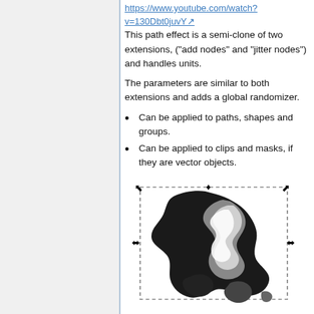https://www.youtube.com/watch?v=130Dbt0juvY
This path effect is a semi-clone of two extensions, ("add nodes" and "jitter nodes") and handles units.
The parameters are similar to both extensions and adds a global randomizer.
Can be applied to paths, shapes and groups.
Can be applied to clips and masks, if they are vector objects.
[Figure (illustration): An Inkscape screenshot showing a black and white vector shape with a dashed bounding box and resize/transform handles at corners and edges. The shape appears to be a jittered/distorted blob-like graphic.]